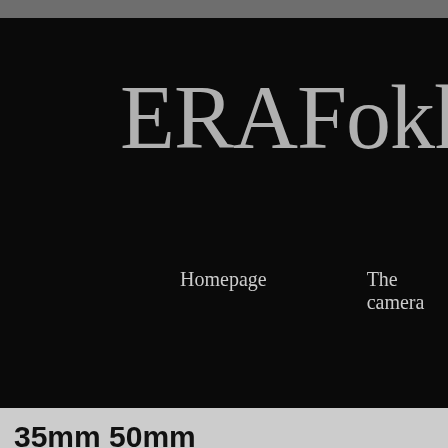ERAFokk
Homepage    The camera
35mm 50mm